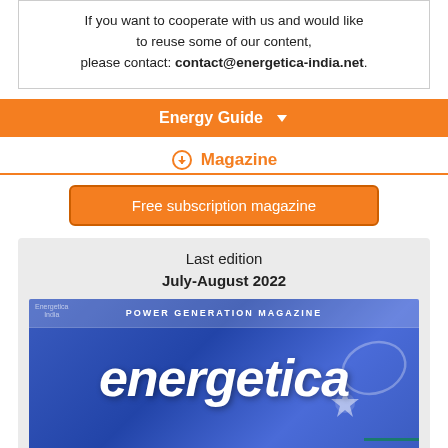If you want to cooperate with us and would like to reuse some of our content, please contact: contact@energetica-india.net.
Energy Guide
Magazine
Free subscription magazine
Last edition
July-August 2022
[Figure (illustration): Cover of Energetica India Power Generation Magazine, July-August 2022 edition, featuring the energetica logo on a blue background]